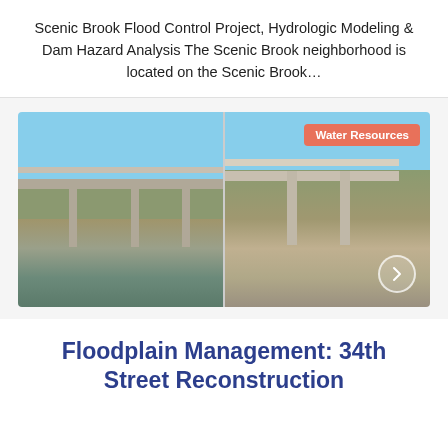Scenic Brook Flood Control Project, Hydrologic Modeling & Dam Hazard Analysis The Scenic Brook neighborhood is located on the Scenic Brook…
[Figure (photo): Two side-by-side photos of a concrete bridge over a creek/brook. The left photo shows the bridge before reconstruction with dry riverbed and construction debris. The right photo shows the same bridge after reconstruction with improved structure, also showing a dry rocky riverbed. A salmon/coral colored badge labeled 'Water Resources' overlays the top-right corner of the right photo. A circular arrow navigation button is visible at the bottom-right.]
Floodplain Management: 34th Street Reconstruction